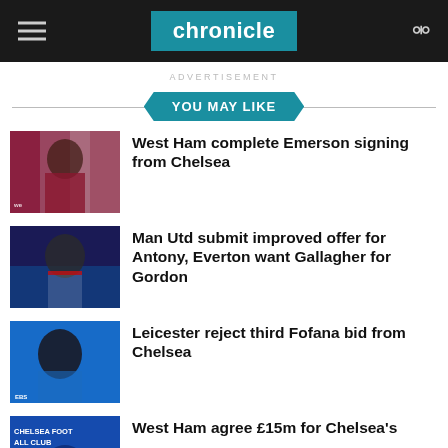chronicle
ADVERTISEMENT
YOU MAY LIKE
[Figure (photo): West Ham player in kit]
West Ham complete Emerson signing from Chelsea
[Figure (photo): Ajax player Antony clapping]
Man Utd submit improved offer for Antony, Everton want Gallagher for Gordon
[Figure (photo): Leicester City player Wesley Fofana]
Leicester reject third Fofana bid from Chelsea
[Figure (photo): Chelsea Football Club logo/building]
West Ham agree £15m for Chelsea's